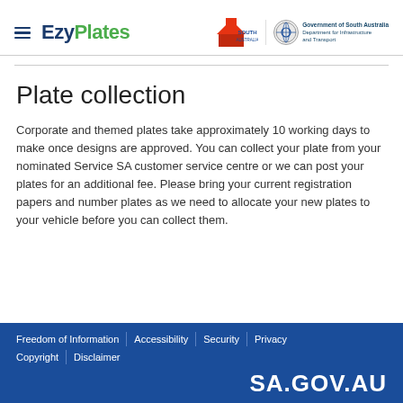EzyPlates — Government of South Australia, Department for Infrastructure and Transport
Plate collection
Corporate and themed plates take approximately 10 working days to make once designs are approved. You can collect your plate from your nominated Service SA customer service centre or we can post your plates for an additional fee. Please bring your current registration papers and number plates as we need to allocate your new plates to your vehicle before you can collect them.
Freedom of Information | Accessibility | Security | Privacy | Copyright | Disclaimer | SA.GOV.AU